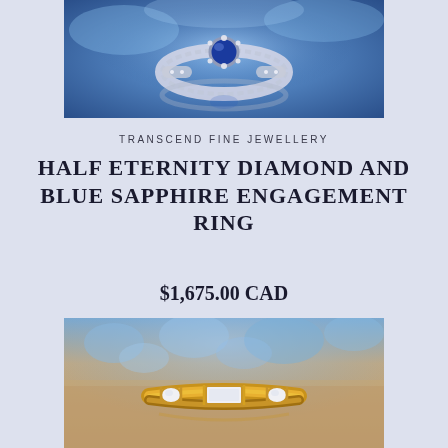[Figure (photo): Close-up photo of a white gold engagement ring with a blue sapphire center stone and diamond halo, photographed on a blue background with reflection visible]
TRANSCEND FINE JEWELLERY
HALF ETERNITY DIAMOND AND BLUE SAPPHIRE ENGAGEMENT RING
$1,675.00 CAD
[Figure (photo): Close-up photo of a yellow gold half eternity ring with round and baguette diamonds, photographed on a soft brown/beige surface with blurred blue floral background]